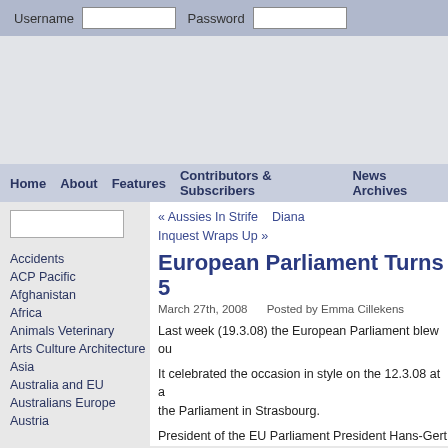Username  Password
[Figure (other): Advertisement banner area]
Home  About  Features  Contributors & Subscribers  News Archives
« Aussies In Strife    Diana Inquest Wraps Up »
European Parliament Turns 5
March 27th, 2008    Posted by Emma Cillekens
Last week (19.3.08) the European Parliament blew ou
It celebrated the occasion in style on the 12.3.08 at a the Parliament in Strasbourg.
President of the EU Parliament President Hans-Gert P addressed guests on the day of celebrations, stressing Parliament since its beginnings.
"Step by step, the European Parliament has fought to more rights and has become ever more aware of its r
Accidents
ACP Pacific
Afghanistan
Africa
Animals Veterinary
Arts Culture Architecture
Asia
Australia and EU
Australians Europe
Austria